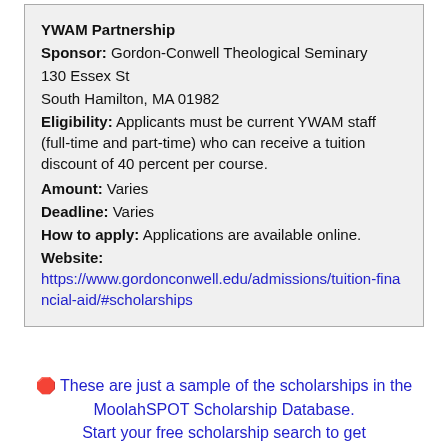YWAM Partnership Sponsor: Gordon-Conwell Theological Seminary 130 Essex St South Hamilton, MA 01982 Eligibility: Applicants must be current YWAM staff (full-time and part-time) who can receive a tuition discount of 40 percent per course. Amount: Varies Deadline: Varies How to apply: Applications are available online. Website: https://www.gordonconwell.edu/admissions/tuition-financial-aid/#scholarships
🛑 These are just a sample of the scholarships in the MoolahSPOT Scholarship Database. Start your free scholarship search to get